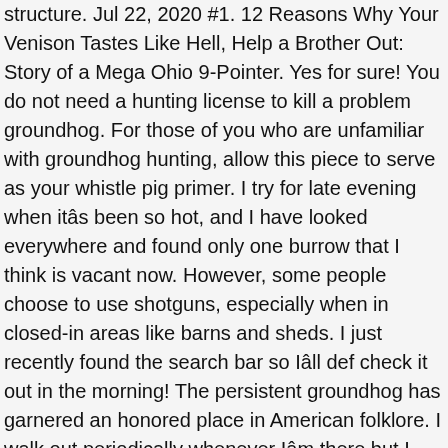structure. Jul 22, 2020 #1. 12 Reasons Why Your Venison Tastes Like Hell, Help a Brother Out: Story of a Mega Ohio 9-Pointer. Yes for sure! You do not need a hunting license to kill a problem groundhog. For those of you who are unfamiliar with groundhog hunting, allow this piece to serve as your whistle pig primer. I try for late evening when itâs been so hot, and I have looked everywhere and found only one burrow that I think is vacant now. However, some people choose to use shotguns, especially when in closed-in areas like barns and sheds. I just recently found the search bar so Iâll def check it out in the morning! The persistent groundhog has garnered an honored place in American folklore. I walk out periodically whenever Iâm there but I usually only see them when Iâm not trying! Farmers generally dislike them due to their destructive burrowing under structures. Im bored as hell in the evenings so Iâm giving it hell. In this heat I would say 7-9am and again the same times PM would be prime times but they can be out and about just about anytime of the day. Hunting groundhogs isn't a new thing